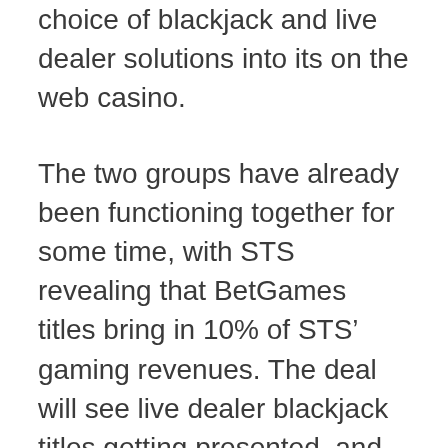choice of blackjack and live dealer solutions into its on the web casino.
The two groups have already been functioning together for some time, with STS revealing that BetGames titles bring in 10% of STS' gaming revenues. The deal will see live dealer blackjack titles getting presented, and will continue to see STS supplying BetGames titles in the nation on an exclusive basis. For the uninitiated, live dealer games supply webcast versions of their table counterpart. They offer a slower pace of play and the chance to interact with a real dealer. Games are webcast in higher definition, and they can be played by means of desktop computers or mobile devices.
Commenting on the deal STS Holdings CEO